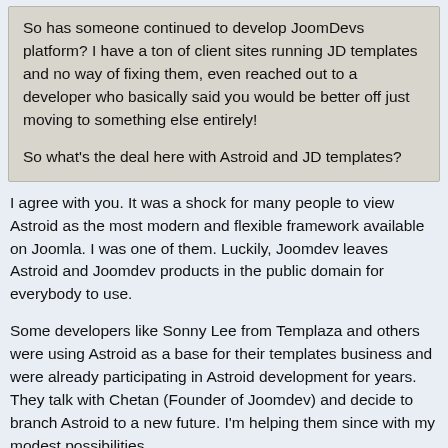So has someone continued to develop JoomDevs platform? I have a ton of client sites running JD templates and no way of fixing them, even reached out to a developer who basically said you would be better off just moving to something else entirely!

So what's the deal here with Astroid and JD templates?
I agree with you. It was a shock for many people to view Astroid as the most modern and flexible framework available on Joomla. I was one of them. Luckily, Joomdev leaves Astroid and Joomdev products in the public domain for everybody to use.
Some developers like Sonny Lee from Templaza and others were using Astroid as a base for their templates business and were already participating in Astroid development for years. They talk with Chetan (Founder of Joomdev) and decide to branch Astroid to a new future. I'm helping them since with my modest possibilities.